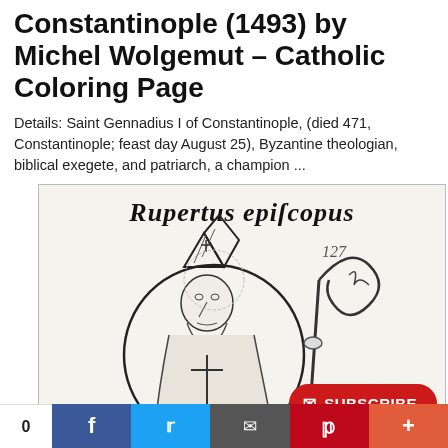Constantinople (1493) by Michel Wolgemut - Catholic Coloring Page
Details: Saint Gennadius I of Constantinople, (died 471, Constantinople; feast day August 25), Byzantine theologian, biblical exegete, and patriarch, a champion ...
[Figure (illustration): Medieval woodcut illustration from 1493 showing a bishop figure (Rupertus episcopus) with mitre and crozier, within a circular halo, with text 'Rupertus episcopus' at top and number '127' visible. Black and white woodcut style.]
0  [Facebook] [Twitter] [Email] [Pinterest] [+]